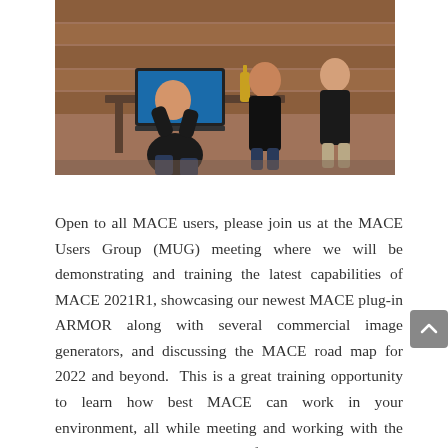[Figure (photo): Photo of people at an outdoor event, one person kneeling at a laptop on a table, two others standing behind, in what appears to be a rustic outdoor venue.]
Open to all MACE users, please join us at the MACE Users Group (MUG) meeting where we will be demonstrating and training the latest capabilities of MACE 2021R1, showcasing our newest MACE plug-in ARMOR along with several commercial image generators, and discussing the MACE road map for 2022 and beyond.  This is a great training opportunity to learn how best MACE can work in your environment, all while meeting and working with the team behind the development of MACE.  What's more, this event is free to all attendees with no landing fee.  Don't